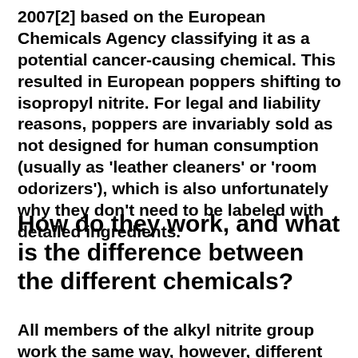2007[2] based on the European Chemicals Agency classifying it as a potential cancer-causing chemical. This resulted in European poppers shifting to isopropyl nitrite. For legal and liability reasons, poppers are invariably sold as not designed for human consumption (usually as 'leather cleaners' or 'room odorizers'), which is also unfortunately why they don't need to be labeled with detailed ingredients.
How do they work, and what is the difference between the different chemicals?
All members of the alkyl nitrite group work the same way, however, different members